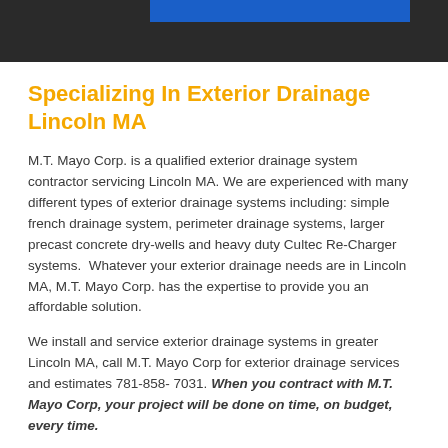[Figure (photo): Dark background hero image with a blue bar/banner overlaid at the top center]
Specializing In Exterior Drainage Lincoln MA
M.T. Mayo Corp. is a qualified exterior drainage system contractor servicing Lincoln MA. We are experienced with many different types of exterior drainage systems including: simple french drainage system, perimeter drainage systems, larger precast concrete dry-wells and heavy duty Cultec Re-Charger systems.  Whatever your exterior drainage needs are in Lincoln MA, M.T. Mayo Corp. has the expertise to provide you an affordable solution.
We install and service exterior drainage systems in greater Lincoln MA, call M.T. Mayo Corp for exterior drainage services and estimates 781-858- 7031. When you contract with M.T. Mayo Corp, your project will be done on time, on budget, every time.